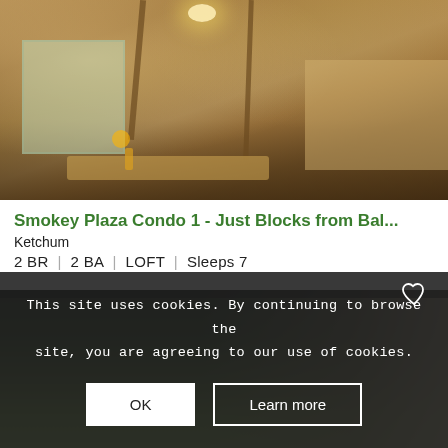[Figure (photo): Interior photo of a log cabin style condo showing dining area with wooden table, timber ceiling beams, pendant lamp, windows with green trees outside, and kitchen counter area on the right]
Smokey Plaza Condo 1 - Just Blocks from Bal...
Ketchum
2 BR  |  2 BA  |  LOFT  |  Sleeps 7
This site uses cookies. By continuing to browse the site, you are agreeing to our use of cookies.
[Figure (photo): Partial exterior photo of another property listing showing trees and building facade, partially obscured by cookie consent overlay]